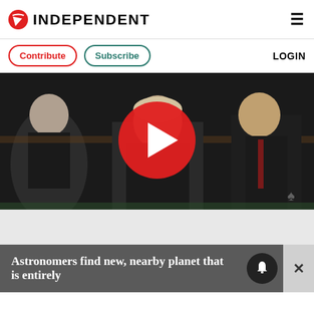INDEPENDENT
[Figure (screenshot): Independent newspaper website header with logo (eagle icon + INDEPENDENT text) and hamburger menu icon]
[Figure (other): Navigation bar with Contribute (red outline) and Subscribe (teal outline) buttons, and LOGIN text on right]
[Figure (photo): Video thumbnail showing people in parliament/political setting with a large red play button overlay]
[Figure (screenshot): Breaking news banner at bottom: 'Astronomers find new, nearby planet that is entirely' with bell notification icon and close (X) button]
Astronomers find new, nearby planet that is entirely